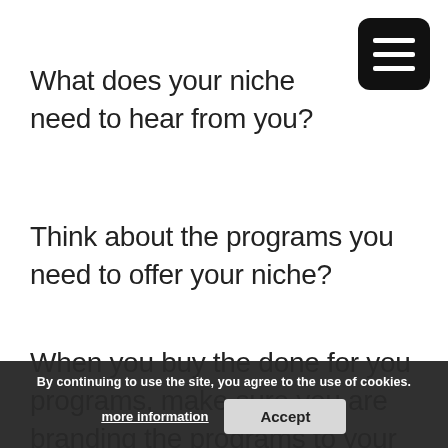What does your niche need to hear from you?
Think about the programs you need to offer your niche?
When you buy the done for you programs, make sure you are branding the programs to your niche. You will make more clients when you niche your programs.
By continuing to use the site, you agree to the use of cookies.
more information
Accept